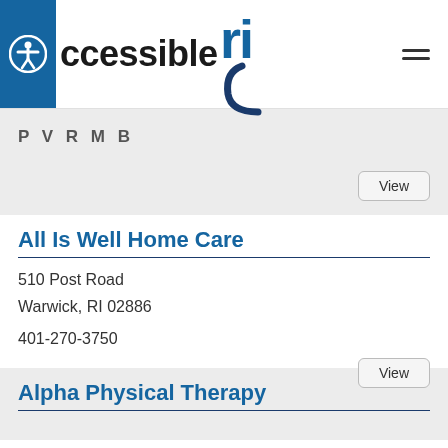[Figure (logo): Accessible RI website logo with accessibility icon and stylized 'ri' text with a blue C curve]
P V R M B
View
All Is Well Home Care
510 Post Road
Warwick, RI 02886
401-270-3750
View
Alpha Physical Therapy